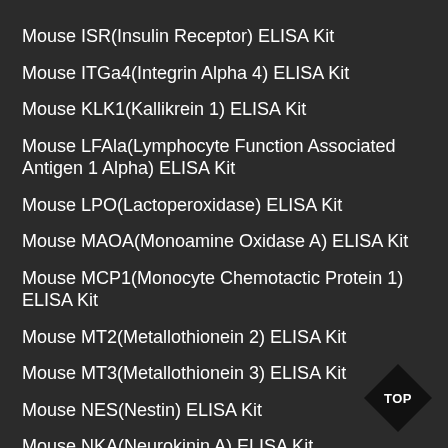Mouse ISR(Insulin Receptor) ELISA Kit
Mouse ITGa4(Integrin Alpha 4) ELISA Kit
Mouse KLK1(Kallikrein 1) ELISA Kit
Mouse LFAla(Lymphocyte Function Associated Antigen 1 Alpha) ELISA Kit
Mouse LPO(Lactoperoxidase) ELISA Kit
Mouse MAOA(Monoamine Oxidase A) ELISA Kit
Mouse MCP1(Monocyte Chemotactic Protein 1) ELISA Kit
Mouse MT2(Metallothionein 2) ELISA Kit
Mouse MT3(Metallothionein 3) ELISA Kit
Mouse NES(Nestin) ELISA Kit
Mouse NKA(Neurokinin A) ELISA Kit
Mouse OX(Orexin) ELISA Kit